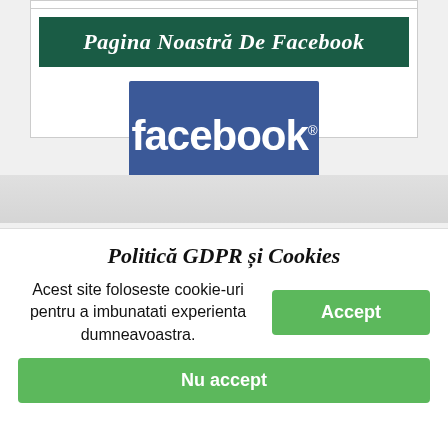Pagina Noastră De Facebook
[Figure (logo): Facebook logo: blue rectangle with white bold 'facebook.' text]
Politică GDPR și Cookies
Acest site foloseste cookie-uri pentru a imbunatati experienta dumneavoastra.
Accept
Nu accept